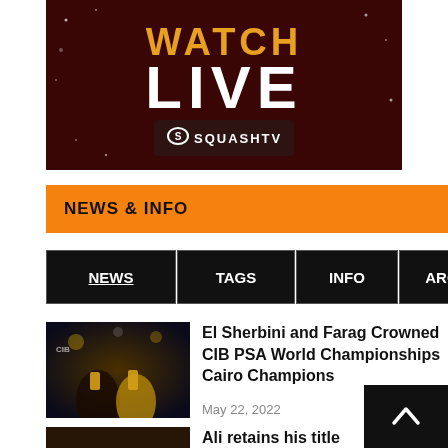[Figure (photo): Dark red/maroon banner with 'WATCH LIVE' text in orange and white, with Squash TV logo at bottom]
NEWS & INFO
NEWS
TAGS
INFO
ARCHIVE
[Figure (photo): Photo of El Sherbini and Farag holding trophies at CIB PSA World Championships]
El Sherbini and Farag Crowned CIB PSA World Championships Cairo Champions
May 22, 2022
[Figure (photo): Thumbnail photo for second article about Ali retaining his title]
Ali retains his title